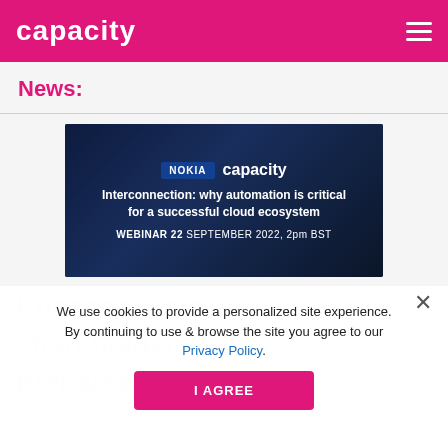capacity
News:
[Figure (screenshot): Webinar promotional banner for Nokia and Capacity. Shows city skyline at night. Text reads: 'Interconnection: why automation is critical for a successful cloud ecosystem. WEBINAR 22 SEPTEMBER 2022, 2pm BST']
We use cookies to provide a personalized site experience. By continuing to use & browse the site you agree to our Privacy Policy.
I AGREE
Ericsson warns shareholders be prepared for penalties